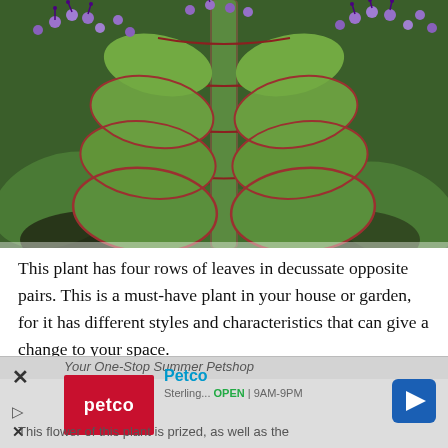[Figure (photo): Close-up photograph of a succulent plant with round paired leaves in decussate arrangement, featuring reddish edges. Purple flowers visible in the background.]
This plant has four rows of leaves in decussate opposite pairs. This is a must-have plant in your house or garden, for it has different styles and characteristics that can give a change to your space.
[Figure (other): Advertisement overlay for Petco: 'Your One-Stop Summer Petshop' with Petco logo (red background, white text), Petco brand name in cyan, navigation arrow icon. Partially overlapping the main text. Bottom partially visible text reads: 'This flower of this plant is prized, as well as the' with Sterling...OPEN 9AM-9PM.]